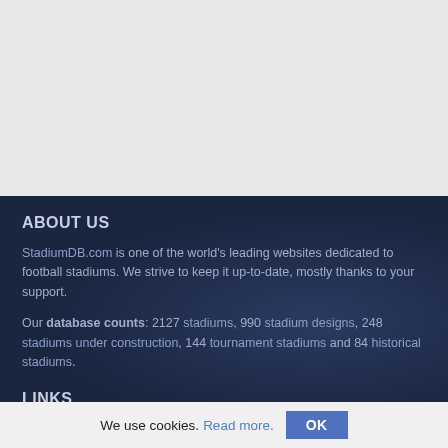[Figure (other): Light grey blank area at top of page, likely an image placeholder or banner area]
ABOUT US
StadiumDB.com is one of the world's leading websites dedicated to football stadiums. We strive to keep it up-to-date, mostly thanks to your support.
Our database counts: 2127 stadiums, 990 stadium designs, 248 stadiums under construction, 144 tournament stadiums and 84 historical stadiums.
LINKS
About us
Links
Contact us
We use cookies. Read more. OK